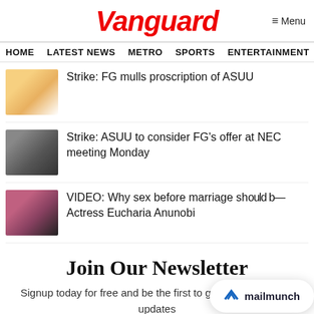Vanguard
≡ Menu
HOME  LATEST NEWS  METRO  SPORTS  ENTERTAINMENT  VIDEOS
Strike: FG mulls proscription of ASUU
Strike: ASUU to consider FG's offer at NEC meeting Monday
VIDEO: Why sex before marriage sh— Actress Eucharia Anunobi
[Figure (infographic): mailmunch popup overlay with logo]
Join Our Newsletter
Signup today for free and be the first to get notified on new updates